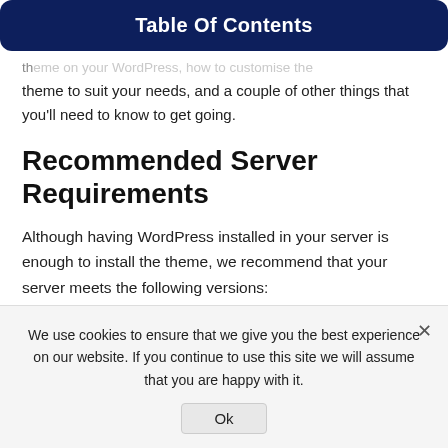Table Of Contents
theme on your WordPress, how to customise the theme to suit your needs, and a couple of other things that you'll need to know to get going.
Recommended Server Requirements
Although having WordPress installed in your server is enough to install the theme, we recommend that your server meets the following versions:
PHP version 7.0 or greater
We use cookies to ensure that we give you the best experience on our website. If you continue to use this site we will assume that you are happy with it.